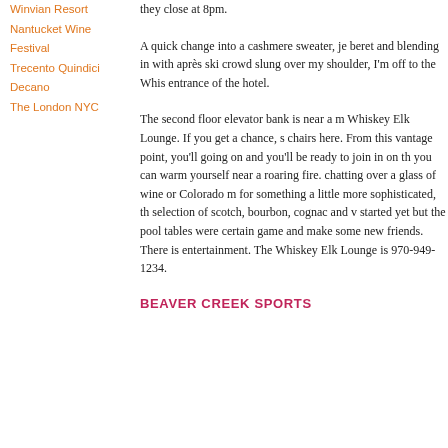Winvian Resort
Nantucket Wine Festival
Trecento Quindici Decano
The London NYC
they close at 8pm.
A quick change into a cashmere sweater, je beret and blending in with après ski crowd slung over my shoulder, I'm off to the Whis entrance of the hotel.
The second floor elevator bank is near a m Whiskey Elk Lounge. If you get a chance, s chairs here. From this vantage point, you'll going on and you'll be ready to join in on th you can warm yourself near a roaring fire. chatting over a glass of wine or Colorado m for something a little more sophisticated, th selection of scotch, bourbon, cognac and v started yet but the pool tables were certain game and make some new friends. There is entertainment. The Whiskey Elk Lounge is 970-949-1234.
BEAVER CREEK SPORTS